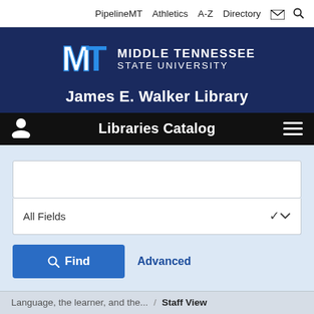PipelineMT  Athletics  A-Z  Directory  ✉  🔍
[Figure (logo): Middle Tennessee State University logo with MT letters in blue and white, with text MIDDLE TENNESSEE STATE UNIVERSITY]
James E. Walker Library
Libraries Catalog
All Fields
Find  Advanced
Language, the learner, and the... / Staff View